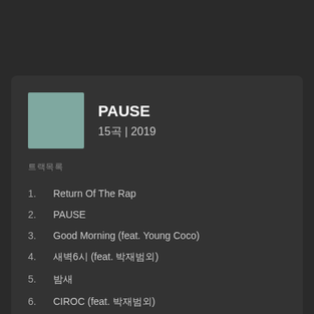PAUSE
15곡 | 2019
트랙목록
1. Return Of The Rap
2. PAUSE
3. Good Morning (feat. Young Coco)
4. 새벽6시 (feat. 박재범외)
5. 밤새
6. CIROC (feat. 박재범외)
7. 2020